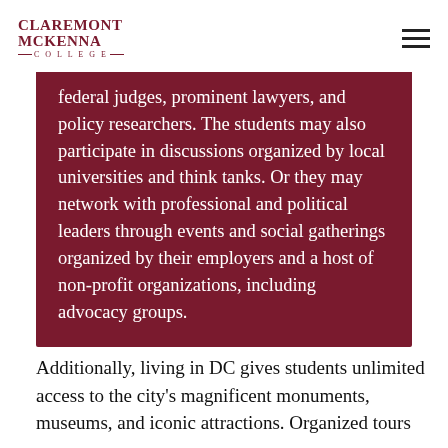Claremont McKenna College
federal judges, prominent lawyers, and policy researchers. The students may also participate in discussions organized by local universities and think tanks. Or they may network with professional and political leaders through events and social gatherings organized by their employers and a host of non-profit organizations, including advocacy groups.
Additionally, living in DC gives students unlimited access to the city's magnificent monuments, museums, and iconic attractions. Organized tours